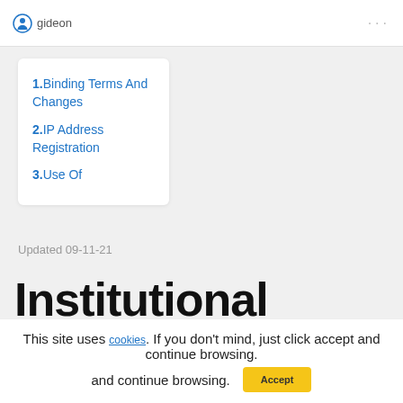gideon
1. Binding Terms And Changes
2. IP Address Registration
3. Use Of
Updated 09-11-21
Institutional
This site uses cookies. If you don't mind, just click accept and continue browsing. Accept